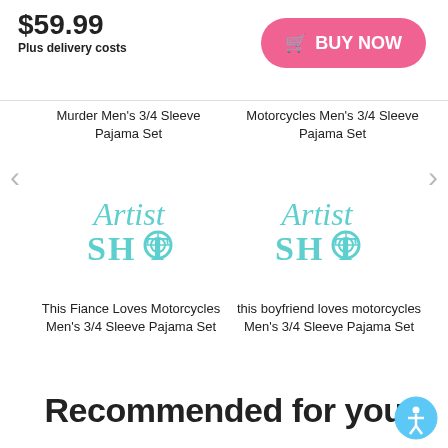$59.99
Plus delivery costs
[Figure (other): Pink BUY NOW button with shopping cart icon]
Murder Men's 3/4 Sleeve Pajama Set
Motorcycles Men's 3/4 Sleeve Pajama Set
[Figure (logo): Artist Shot logo in teal/cyan colors]
[Figure (logo): Artist Shot logo in teal/cyan colors]
This Fiance Loves Motorcycles Men's 3/4 Sleeve Pajama Set
this boyfriend loves motorcycles Men's 3/4 Sleeve Pajama Set
Recommended for you